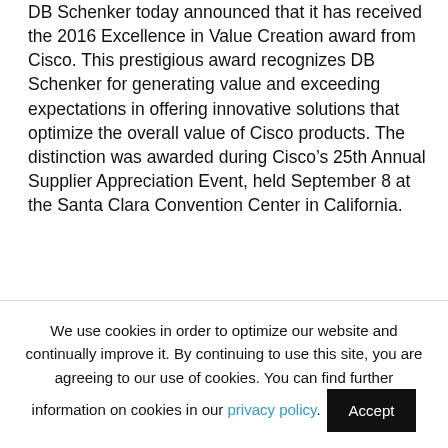DB Schenker today announced that it has received the 2016 Excellence in Value Creation award from Cisco. This prestigious award recognizes DB Schenker for generating value and exceeding expectations in offering innovative solutions that optimize the overall value of Cisco products. The distinction was awarded during Cisco's 25th Annual Supplier Appreciation Event, held September 8 at the Santa Clara Convention Center in California.
“The theme for our Silver Anniversary SAE event, ‘Celebrating the Journey’, puts the spotlight on our continued journey towards Digitization and the
We use cookies in order to optimize our website and continually improve it. By continuing to use this site, you are agreeing to our use of cookies. You can find further information on cookies in our privacy policy.